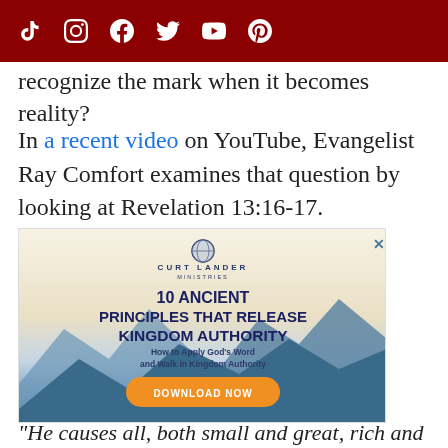[Social media icons: TikTok, Instagram, Facebook, Twitter, YouTube, Pinterest]
recognize the mark when it becomes reality?
In a recent video on YouTube, Evangelist Ray Comfort examines that question by looking at Revelation 13:16-17.
[Figure (illustration): Advertisement for Curt Lander Ministries: '10 Ancient Principles That Release Kingdom Authority – How to Apply God's Word and Walk in Kingdom Authority' with a Download Now button, mountain landscape background.]
"He causes all, both small and great, rich and